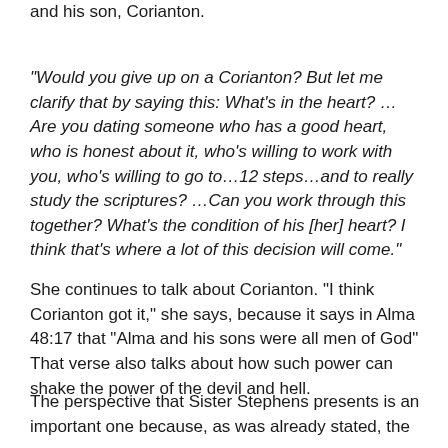response to the question above, after talking about Alma and his son, Corianton.
“Would you give up on a Corianton? But let me clarify that by saying this: What’s in the heart? …Are you dating someone who has a good heart, who is honest about it, who’s willing to work with you, who’s willing to go to…12 steps…and to really study the scriptures? …Can you work through this together? What’s the condition of his [her] heart? I think that’s where a lot of this decision will come.”
She continues to talk about Corianton. “I think Corianton got it,” she says, because it says in Alma 48:17 that “Alma and his sons were all men of God” That verse also talks about how such power can shake the power of the devil and hell.
The perspective that Sister Stephens presents is an important one because, as was already stated, the